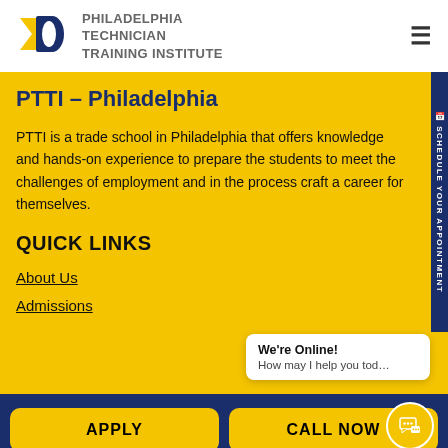[Figure (logo): Philadelphia Technician Training Institute logo with yellow and blue P and T shapes]
PTTI – Philadelphia
PTTI is a trade school in Philadelphia that offers knowledge and hands-on experience to prepare the students to meet the challenges of employment and in the process craft a career for themselves.
QUICK LINKS
About Us
Admissions
We're Online! How may I help you today?
APPLY
CALL NOW